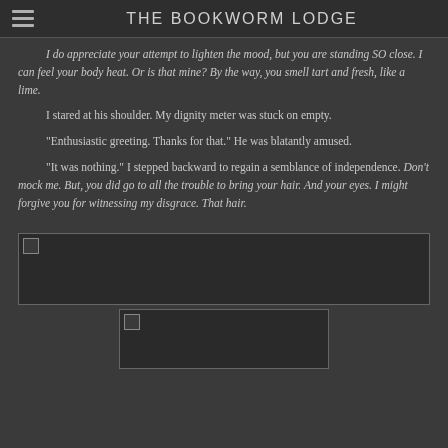THE BOOKWORM LODGE
I do appreciate your attempt to lighten the mood, but you are standing SO close. I can feel your body heat. Or is that mine? By the way, you smell tart and fresh, like a lime.
I stared at his shoulder. My dignity meter was stuck on empty.
"Enthusiastic greeting. Thanks for that." He was blatantly amused.
"It was nothing." I stepped backward to regain a semblance of independence. Don't mock me. But, you did go to all the trouble to bring your hair. And your eyes. I might forgive you for witnessing my disgrace. That hair.
[Figure (photo): Wide image placeholder with broken image icon in top-left corner, dark background]
[Figure (photo): Smaller centered image placeholder with broken image icon in top-left corner, dark background]